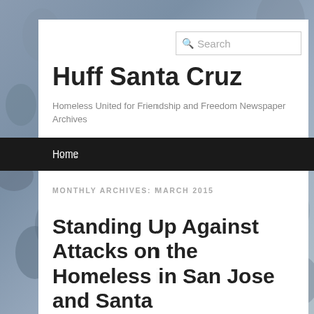[Figure (photo): Crowd of people in the background serving as the page background image]
Huff Santa Cruz
Homeless United for Friendship and Freedom Newspaper Archives
Home
MONTHLY ARCHIVES: MARCH 2015
Standing Up Against Attacks on the Homeless in San Jose and Santa